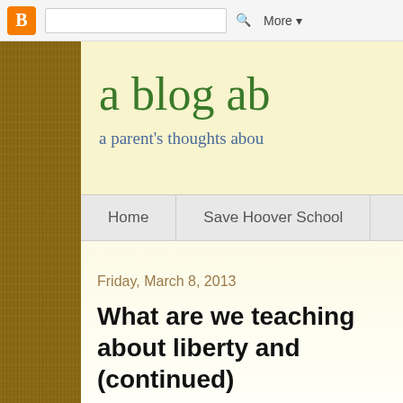[Figure (screenshot): Blogger navigation bar with orange B icon, search box, and More dropdown button]
a blog ab
a parent's thoughts abou
Home   Save Hoover School
Friday, March 8, 2013
What are we teaching about liberty and (continued)
As regular readers of this blog know, I'm concerned about a to K-12 education because I'm concerned about the increasi